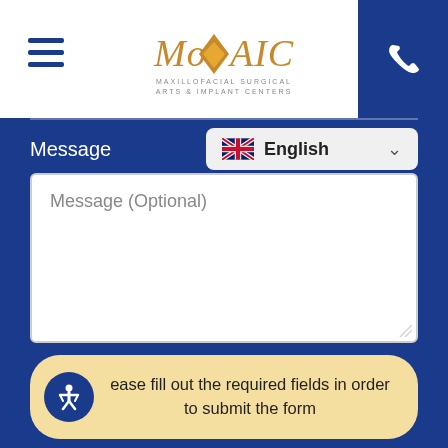[Figure (logo): Mosaic Maxillofacial Surgical Arts & Implant Centers logo with hamburger menu and phone button]
Message
[Figure (screenshot): Language selector dropdown showing UK flag and 'English' with chevron]
Message (Optional)
ease fill out the required fields in order to submit the form
By submitting this form, you agree to be contacted by phone, email or text and that any associated call may be recorded for quality and training purposes. This form should not be used to transmit private health information, and we disclaim all warranties with respect to the privacy and confidentiality of any information submitted through this